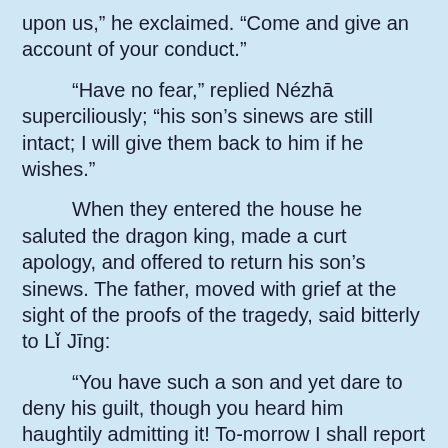upon us,” he exclaimed. “Come and give an account of your conduct.”
“Have no fear,” replied Nézhā superciliously; “his son’s sinews are still intact; I will give them back to him if he wishes.”
When they entered the house he saluted the dragon king, made a curt apology, and offered to return his son’s sinews. The father, moved with grief at the sight of the proofs of the tragedy, said bitterly to Lǐ Jīng:
“You have such a son and yet dare to deny his guilt, though you heard him haughtily admitting it! To-morrow I shall report the matter to the Jade Emperor.” Having spoken thus, he departed.
Lǐ Jīng was overwhelmed at the enormity of his son’s crime. His wife, in an adjoining room, hearing his lamentations, went to her husband.